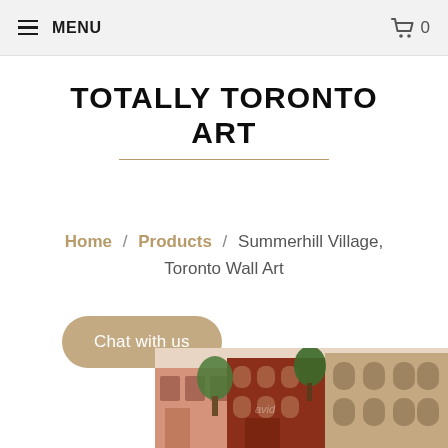MENU   🛒 0
TOTALLY TORONTO ART
Home / Products / Summerhill Village, Toronto Wall Art
Chat with us
[Figure (illustration): Partial view of a colorful Toronto streetscape painting showing brick buildings with arched windows, trees, and vibrant colors.]